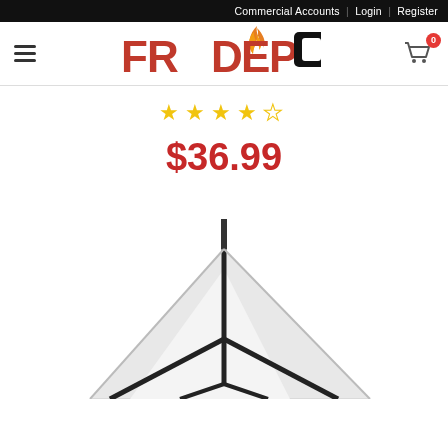Commercial Accounts | Login | Register
[Figure (logo): FR Depot logo with flame icon, red bold text FR DEPOT]
[Figure (other): Star rating showing 4 out of 5 stars (4 filled yellow stars, 1 empty star)]
$36.99
[Figure (photo): Product photo showing a white fabric canopy tent structure with black metal frame/tripod legs]